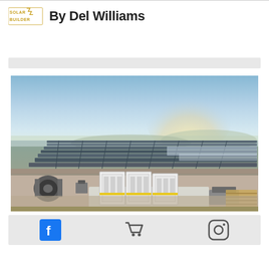By Del Williams
[Figure (photo): Aerial view of a large solar farm with rows of solar panels stretching to the horizon under a hazy sky, with large white electrical equipment cabinets and machinery in the foreground on a dirt road.]